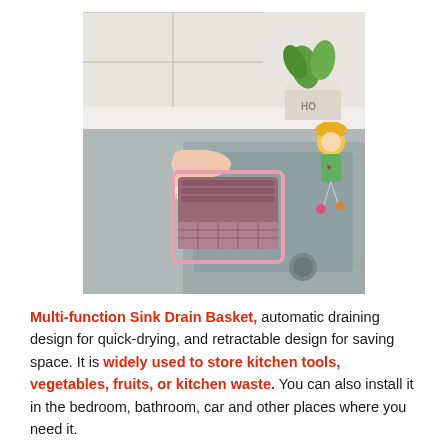[Figure (photo): A hand holding a purple/mauve collapsible sink drain basket over a kitchen stainless steel sink. In the background are a plant, a white pot labeled 'HO', and a small decorative doll figure with colorful accessories.]
Multi-function Sink Drain Basket, automatic draining design for quick-drying, and retractable design for saving space. It is widely used to store kitchen tools, vegetables, fruits, or kitchen waste. You can also install it in the bedroom, bathroom, car and other places where you need it.